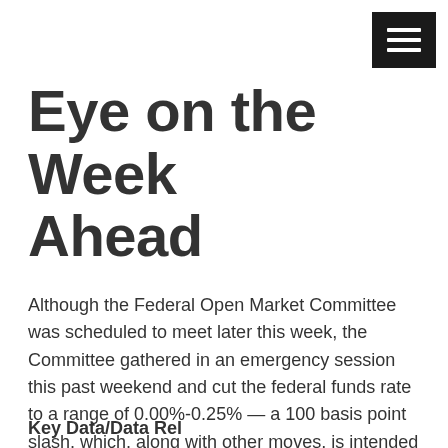Eye on the Week Ahead
Although the Federal Open Market Committee was scheduled to meet later this week, the Committee gathered in an emergency session this past weekend and cut the federal funds rate to a range of 0.00%-0.25% — a 100 basis point slash, which, along with other moves, is intended to stabilize markets and the economy. The rate cut follows the House of Representatives passing of legislation that would make testing for the virus free and provide paid sick leave to certain workers.
Key Data/Data Releases